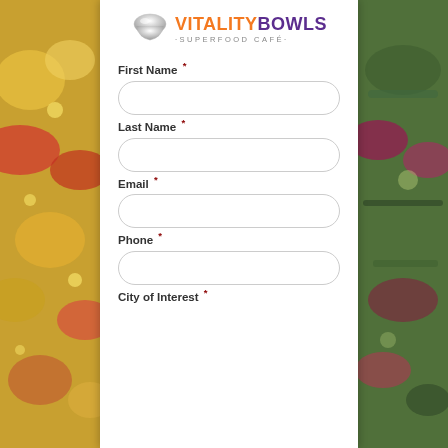[Figure (logo): Vitality Bowls Superfood Café logo with silver bowl icon, orange VITALITY text and purple BOWLS text]
First Name *
Last Name *
Email *
Phone *
City of Interest *